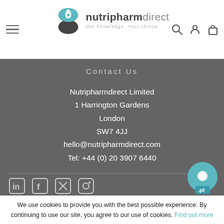[Figure (logo): Nutripharmdirect logo with pill icon and tagline 'Our knowledge. Your choice.']
Contact Us
Nutripharmdirect Limited
1 Harrington Gardens
London
SW7 4JJ
hello@nutripharmdirect.com
Tel: +44 (0) 20 3907 6440
[Figure (other): Social media icons: LinkedIn, Facebook, Twitter, Instagram]
We use cookies to provide you with the best possible experience. By continuing to use our site, you agree to our use of cookies. Find out more